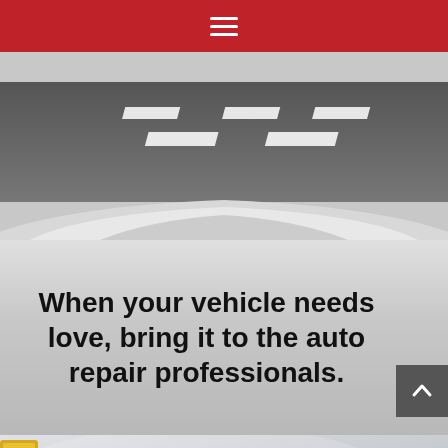≡
[Figure (photo): Aerial view of a road with white dashed lane markings and the hood/roof of a silver car visible at the bottom of the frame]
When your vehicle needs love, bring it to the auto repair professionals.
[Figure (photo): Close-up of a silver/white car body panel showing a dent and body damage with a bolt/rivet visible]